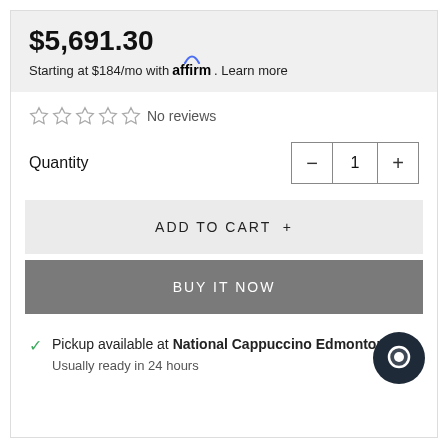$5,691.30
Starting at $184/mo with affirm. Learn more
No reviews
Quantity
ADD TO CART +
BUY IT NOW
Pickup available at National Cappuccino Edmonton
Usually ready in 24 hours